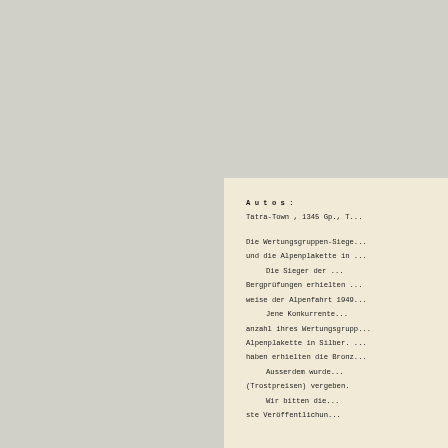A u t o s :
Tatra-Town , 1345 Gp., T...
Die Wertungsgruppen-Sieger und die Alpenplakette in ...
        Die Sieger der ... Bergprüfungen erhielten ... weise der Alpenfahrt 1949...
        Jene Konkurrenten ... anzahl ihres Wertungsgrupp... Alpenplakette in Silber. ... haben erhielten die Bronz...
        Ausserdem wurden ... (Trostpreisen) vergeben.
        Wir bitten die ... ste Veröffentlichung...